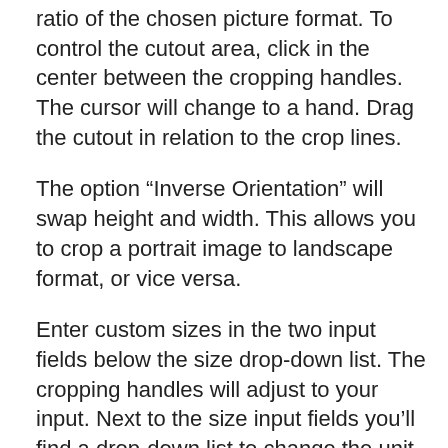ratio of the chosen picture format. To control the cutout area, click in the center between the cropping handles. The cursor will change to a hand. Drag the cutout in relation to the crop lines.
The option “Inverse Orientation” will swap height and width. This allows you to crop a portrait image to landscape format, or vice versa.
Enter custom sizes in the two input fields below the size drop-down list. The cropping handles will adjust to your input. Next to the size input fields you’ll find a drop-down list to change the unit of measure between centimeters and inches.
Changing the image size via unit of measure or cut-out area will affect the print resolution, which is displayed next to the unit of measurement. Print resolution is calculated as pixels per inch (ppi) simply by dividing the pixel count of the image by the chosen physical image size. Please